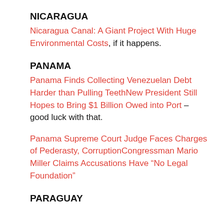NICARAGUA
Nicaragua Canal: A Giant Project With Huge Environmental Costs, if it happens.
PANAMA
Panama Finds Collecting Venezuelan Debt Harder than Pulling TeethNew President Still Hopes to Bring $1 Billion Owed into Port – good luck with that.
Panama Supreme Court Judge Faces Charges of Pederasty, CorruptionCongressman Mario Miller Claims Accusations Have “No Legal Foundation”
PARAGUAY